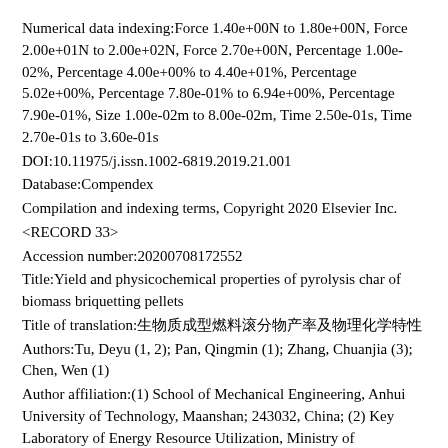Numerical data indexing:Force 1.40e+00N to 1.80e+00N, Force 2.00e+01N to 2.00e+02N, Force 2.70e+00N, Percentage 1.00e-02%, Percentage 4.00e+00% to 4.40e+01%, Percentage 5.02e+00%, Percentage 7.80e-01% to 6.94e+00%, Percentage 7.90e-01%, Size 1.00e-02m to 8.00e-02m, Time 2.50e-01s, Time 2.70e-01s to 3.60e-01s
DOI:10.11975/j.issn.1002-6819.2019.21.001
Database:Compendex
Compilation and indexing terms, Copyright 2020 Elsevier Inc.
<RECORD 33>
Accession number:20200708172552
Title:Yield and physicochemical properties of pyrolysis char of biomass briquetting pellets
Title of translation:&#29983;&#29289;&#36136;&#25104;&#22411;&#29123;&#26009;&#28378;&#20998;&#29289;&#20135;&#29575;&#21450;&#29289;&#29702;&#21270;&#23398;&#29305;&#24615;
Authors:Tu, Deyu (1, 2); Pan, Qingmin (1); Zhang, Chuanjia (3); Chen, Wen (1)
Author affiliation:(1) School of Mechanical Engineering, Anhui University of Technology, Maanshan; 243032, China; (2) Key Laboratory of Energy Resource Utilization, Ministry of Agriculture